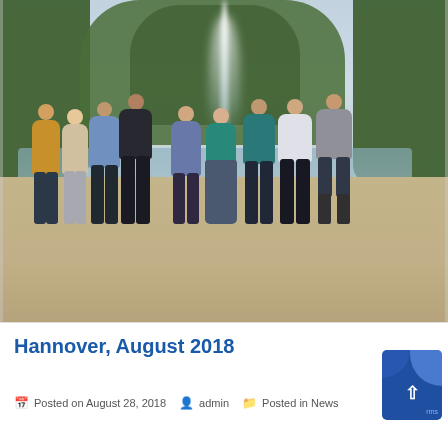[Figure (photo): Group photo of approximately 9-10 people standing in a row with arms around each other in front of a large fountain in a park. Trees line the background. The setting appears to be Hannover, Germany, August 2018.]
Hannover, August 2018
Posted on August 28, 2018  admin  Posted in News